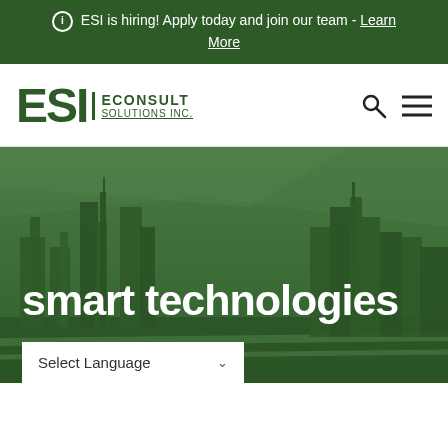ℹ ESI is hiring! Apply today and join our team - Learn More
[Figure (logo): ESI Econsult Solutions Inc. logo in dark green]
[Figure (photo): City skyline (Philadelphia) with dark green overlay and bold white text reading 'smart technologies']
Select Language